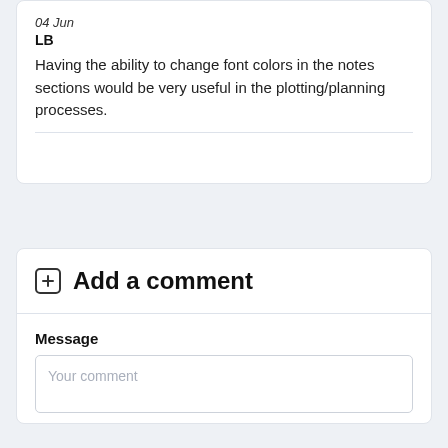04 Jun
LB
Having the ability to change font colors in the notes sections would be very useful in the plotting/planning processes.
Add a comment
Message
Your comment